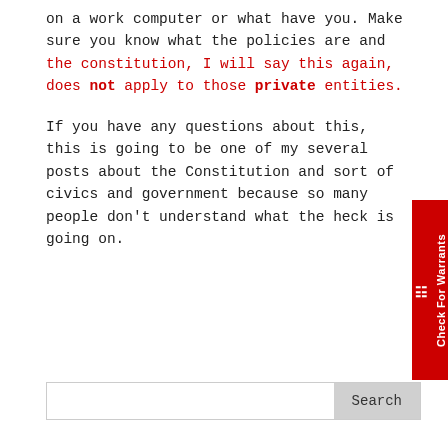on a work computer or what have you. Make sure you know what the policies are and the constitution, I will say this again, does not apply to those private entities.
If you have any questions about this, this is going to be one of my several posts about the Constitution and sort of civics and government because so many people don't understand what the heck is going on.